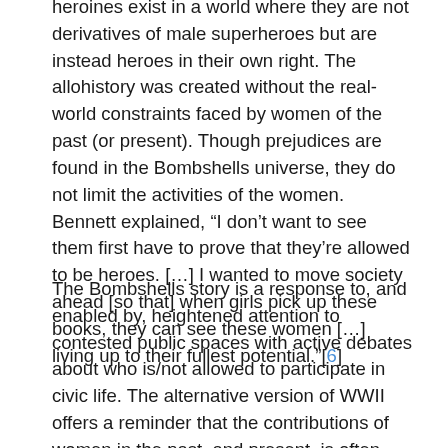heroines exist in a world where they are not derivatives of male superheroes but are instead heroes in their own right. The allohistory was created without the real-world constraints faced by women of the past (or present). Though prejudices are found in the Bombshells universe, they do not limit the activities of the women. Bennett explained, “I don’t want to see them first have to prove that they’re allowed to be heroes. […] I wanted to move society ahead [so that] when girls pick up these books, they can see these women […] living up to their fullest potential.”[6]
The Bombshells story is a response to, and enabled by, heightened attention to contested public spaces with active debates about who is/not allowed to participate in civic life. The alternative version of WWII offers a reminder that the contributions of women in the past, and present, is often undervalued or dismissed.